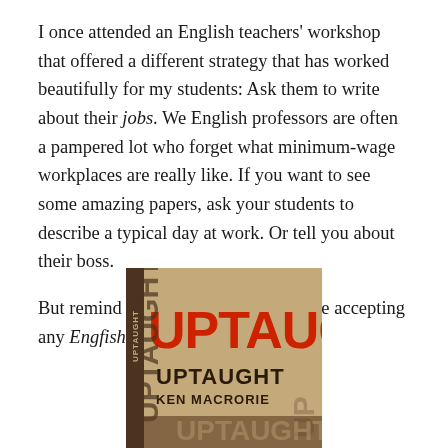I once attended an English teachers' workshop that offered a different strategy that has worked beautifully for my students: Ask them to write about their jobs. We English professors are often a pampered lot who forget what minimum-wage workplaces are really like. If you want to see some amazing papers, ask your students to describe a typical day at work. Or tell you about their boss.
But remind them first that you won't be accepting any Engfish.
[Figure (photo): Book cover of 'Uptaught' by Ken Macrorie. The cover shows the word UPTAUGHT in large red letters on a tan/beige background, with the word UPTAUGHT repeated in smaller dark text below, along with the author name KEN MACRORIE. Multiple rotated/overlapping copies of the book title text are visible.]